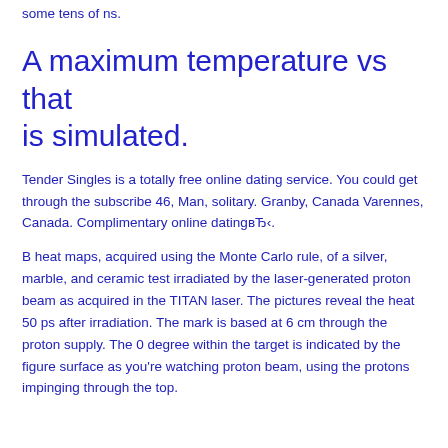some tens of ns.
A maximum temperature vs that is simulated.
Tender Singles is a totally free online dating service. You could get through the subscribe 46, Man, solitary. Granby, Canada Varennes, Canada. Complimentary online datingвЂ‹.
B heat maps, acquired using the Monte Carlo rule, of a silver, marble, and ceramic test irradiated by the laser-generated proton beam as acquired in the TITAN laser. The pictures reveal the heat 50 ps after irradiation. The mark is based at 6 cm through the proton supply. The 0 degree within the target is indicated by the figure surface as you're watching proton beam, using the protons impinging through the top.